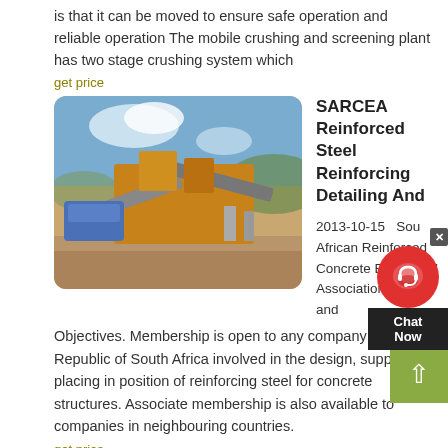is that it can be moved to ensure safe operation and reliable operation The mobile crushing and screening plant has two stage crushing system which
get price
[Figure (photo): Outdoor photo of a large yellow and blue mobile crushing and screening plant with conveyor belts and machinery on a dirt site with hills in background]
SARCEA Reinforced Steel Reinforcing Detailing And
2013-10-15   South African Reinforced Concrete Engineers' Association Aims and Objectives. Membership is open to any company in the Republic of South Africa involved in the design, supply and placing in position of reinforcing steel for concrete structures. Associate membership is also available to companies in neighbouring countries.
get price
[Figure (photo): Bottom partial photo showing construction workers or people on a site with blue sky background]
Equipment For Reinforced